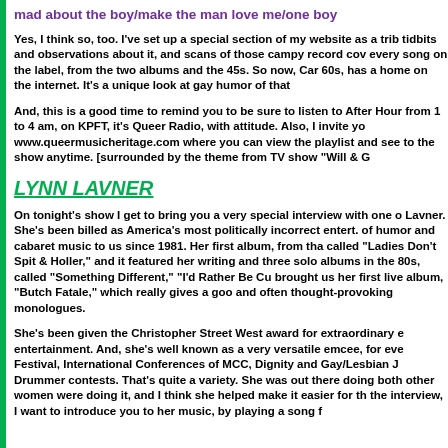mad about the boy/make the man love me/one boy
Yes, I think so, too. I've set up a special section of my website as a trib tidbits and observations about it, and scans of those campy record cov every song on the label, from the two albums and the 45s. So now, Car 60s, has a home on the internet. It's a unique look at gay humor of that
And, this is a good time to remind you to be sure to listen to After Hour from 1 to 4 am, on KPFT, it's Queer Radio, with attitude. Also, I invite yo www.queermusicheritage.com where you can view the playlist and see to the show anytime. [surrounded by the theme from TV show "Will & G
LYNN LAVNER
On tonight's show I get to bring you a very special interview with one o Lavner. She's been billed as America's most politically incorrect entert. of humor and cabaret music to us since 1981. Her first album, from tha called "Ladies Don't Spit & Holler," and it featured her writing and three solo albums in the 80s, called "Something Different," "I'd Rather Be Cu brought us her first live album, "Butch Fatale," which really gives a goo and often thought-provoking monologues.
She's been given the Christopher Street West award for extraordinary e entertainment. And, she's well known as a very versatile emcee, for eve Festival, International Conferences of MCC, Dignity and Gay/Lesbian J Drummer contests. That's quite a variety. She was out there doing both other women were doing it, and I think she helped make it easier for th the interview, I want to introduce you to her music, by playing a song f